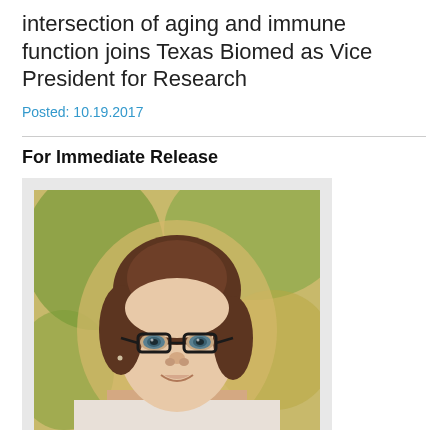intersection of aging and immune function joins Texas Biomed as Vice President for Research
Posted: 10.19.2017
For Immediate Release
[Figure (photo): Portrait photograph of a woman with short brown hair and glasses, smiling, with a blurred green and yellow background.]